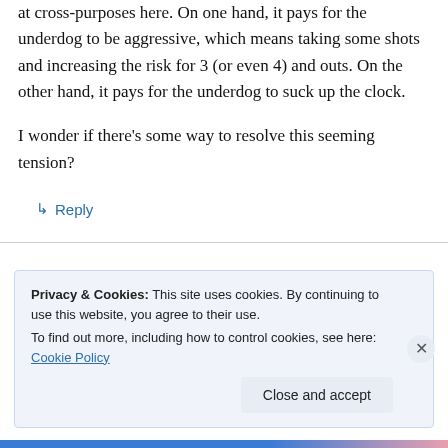at cross-purposes here. On one hand, it pays for the underdog to be aggressive, which means taking some shots and increasing the risk for 3 (or even 4) and outs. On the other hand, it pays for the underdog to suck up the clock.
I wonder if there's some way to resolve this seeming tension?
↳ Reply
Privacy & Cookies: This site uses cookies. By continuing to use this website, you agree to their use. To find out more, including how to control cookies, see here: Cookie Policy